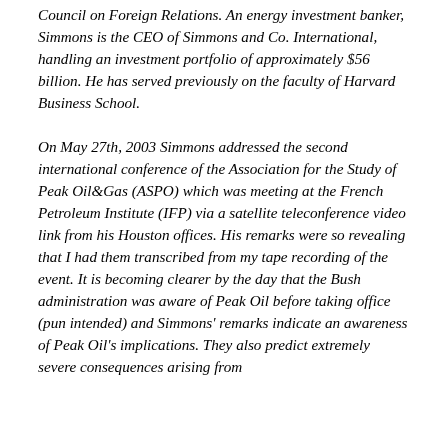Council on Foreign Relations. An energy investment banker, Simmons is the CEO of Simmons and Co. International, handling an investment portfolio of approximately $56 billion. He has served previously on the faculty of Harvard Business School.
On May 27th, 2003 Simmons addressed the second international conference of the Association for the Study of Peak Oil&Gas (ASPO) which was meeting at the French Petroleum Institute (IFP) via a satellite teleconference video link from his Houston offices. His remarks were so revealing that I had them transcribed from my tape recording of the event. It is becoming clearer by the day that the Bush administration was aware of Peak Oil before taking office (pun intended) and Simmons' remarks indicate an awareness of Peak Oil's implications. They also predict extremely severe consequences arising from